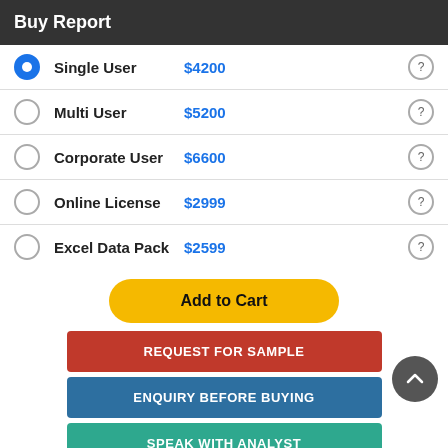Buy Report
Single User   $4200
Multi User   $5200
Corporate User   $6600
Online License   $2999
Excel Data Pack   $2599
Add to Cart
REQUEST FOR SAMPLE
ENQUIRY BEFORE BUYING
SPEAK WITH ANALYST